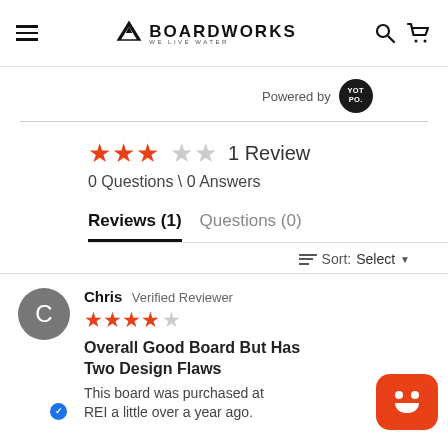Boardworks — We Live Water (navigation header with hamburger menu, logo, search and cart icons)
Powered by YOTPO
★★★☆☆  1 Review
0 Questions \ 0 Answers
Reviews (1)   Questions (0)
Sort:  Select
Chris  Verified Reviewer
★★★★☆
Overall Good Board But Has Two Design Flaws
This board was purchased at REI a little over a year ago.